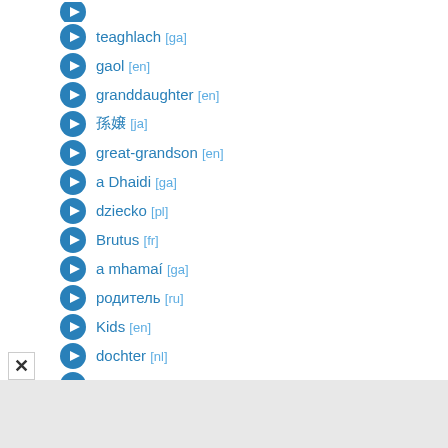teaghlach [ga]
gaol [en]
granddaughter [en]
孫娘 [ja]
great-grandson [en]
a Dhaidi [ga]
dziecko [pl]
Brutus [fr]
a mhamaí [ga]
родитель [ru]
Kids [en]
dochter [nl]
mater [fr]